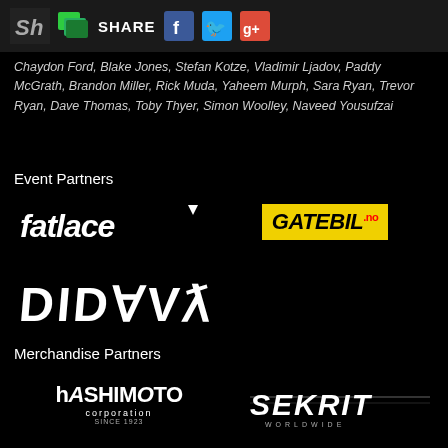SH | SHARE [Facebook] [Twitter] [Google+]
Chaydon Ford, Blake Jones, Stefan Kotze, Vladimir Ljadov, Paddy McGrath, Brandon Miller, Rick Muda, Yaheem Murph, Sara Ryan, Trevor Ryan, Dave Thomas, Toby Thyer, Simon Woolley, Naveed Yousufzai
Event Partners
[Figure (logo): fatlace logo in white italic bold text with downward triangle]
[Figure (logo): GATEBIL.no logo in black italic bold text on yellow background]
[Figure (logo): Stance logo in stylized white text]
Merchandise Partners
[Figure (logo): Hashimoto Corporation SINCE 1923 logo in white]
[Figure (logo): SEKRIT WORLDWIDE logo in white italic text]